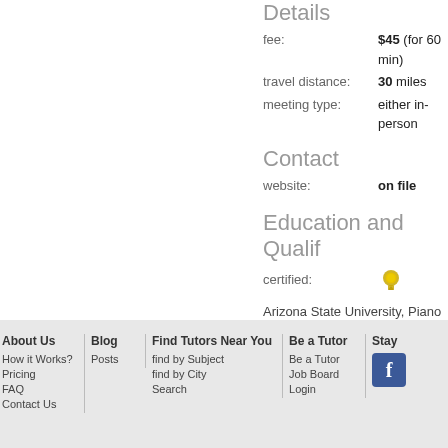Details
fee: $45 (for 60 min)
travel distance: 30 miles
meeting type: either in-person
Contact
website: on file
Education and Qualifications
certified: [badge icon]
Arizona State University, Piano pe
Northwestern University, Masters
Thunderbird School of Manageme
About Us | How it Works? | Pricing | FAQ | Contact Us | Blog | Posts | Find Tutors Near You | find by Subject | find by City | Search | Be a Tutor | Be a Tutor | Job Board | Login | Stay